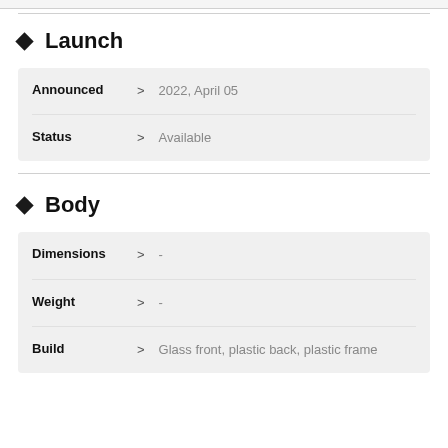Launch
| Field |  | Value |
| --- | --- | --- |
| Announced | > | 2022, April 05 |
| Status | > | Available |
Body
| Field |  | Value |
| --- | --- | --- |
| Dimensions | > | - |
| Weight | > | - |
| Build | > | Glass front, plastic back, plastic frame |